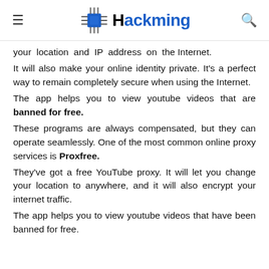Hackming
your location and IP address on the Internet.
It will also make your online identity private. It's a perfect way to remain completely secure when using the Internet.
The app helps you to view youtube videos that are banned for free.
These programs are always compensated, but they can operate seamlessly. One of the most common online proxy services is Proxfree.
They've got a free YouTube proxy. It will let you change your location to anywhere, and it will also encrypt your internet traffic.
The app helps you to view youtube videos that have been banned for free.